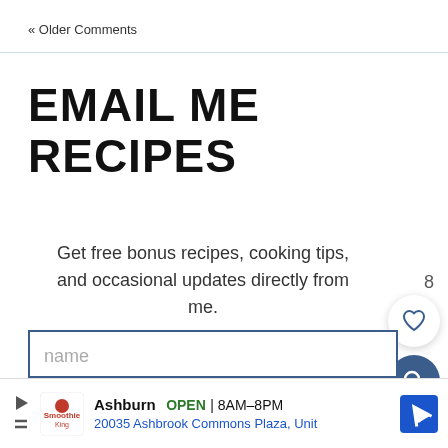« Older Comments
EMAIL ME RECIPES
Get free bonus recipes, cooking tips, and occasional updates directly from me.
[Figure (screenshot): Name input field with blue border and placeholder text 'name']
[Figure (screenshot): Email input field partially visible]
[Figure (screenshot): Advertisement bar: Smoothie King, Ashburn, OPEN 8AM-8PM, 20035 Ashbrook Commons Plaza, Unit]